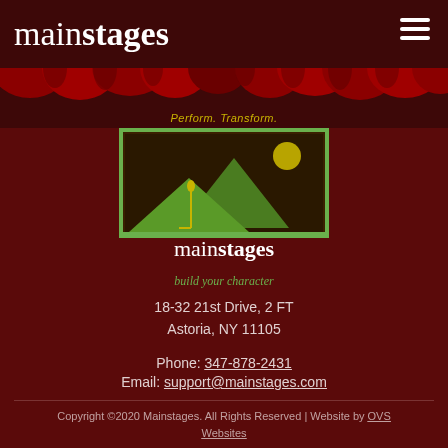main stages
[Figure (illustration): Red theater curtains draped across the top of the page]
Perform. Transform.
[Figure (logo): Mainstages logo: green mountains and microphone silhouette on dark brown background inside a green-outlined rectangle, with text 'main stages' and 'build your character' below]
18-32 21st Drive, 2 FT
Astoria, NY 11105
Phone: 347-878-2431
Email: support@mainstages.com
Copyright ©2020 Mainstages. All Rights Reserved | Website by OVS Websites